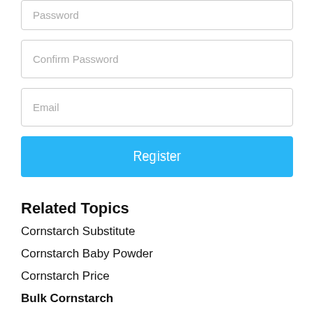Password
Confirm Password
Email
Register
Related Topics
Cornstarch Substitute
Cornstarch Baby Powder
Cornstarch Price
Bulk Cornstarch